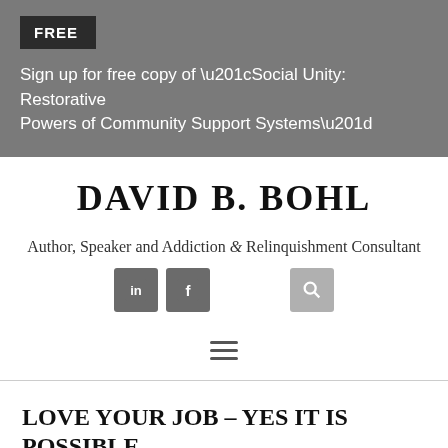FREE
Sign up for free copy of “Social Unity: Restorative Powers of Community Support Systems”
DAVID B. BOHL
Author, Speaker and Addiction & Relinquishment Consultant
[Figure (other): Navigation icons: LinkedIn button, Facebook button, Search button, and hamburger menu icon]
LOVE YOUR JOB – YES IT IS POSSIBLE
February 18, 2008